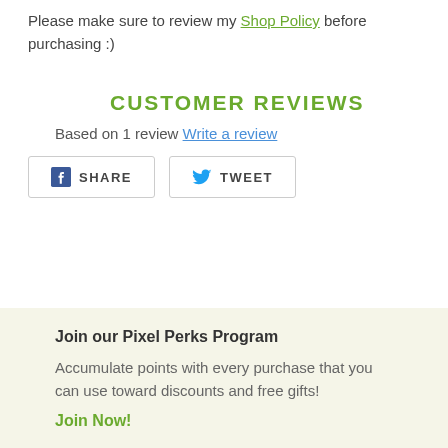Please make sure to review my Shop Policy before purchasing :)
CUSTOMER REVIEWS
Based on 1 review  Write a review
[Figure (other): Social sharing buttons: Facebook SHARE and Twitter TWEET]
Join our Pixel Perks Program
Accumulate points with every purchase that you can use toward discounts and free gifts!
Join Now!